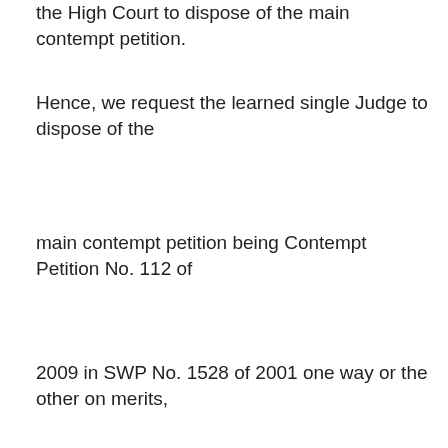the High Court to dispose of the main contempt petition.
Hence, we request the learned single Judge to dispose of the
main contempt petition being Contempt Petition No. 112 of
2009 in SWP No. 1528 of 2001 one way or the other on merits,